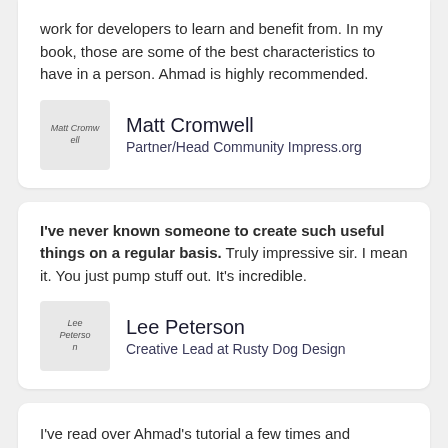work for developers to learn and benefit from. In my book, those are some of the best characteristics to have in a person. Ahmad is highly recommended.
Matt Cromwell
Partner/Head Community Impress.org
I've never known someone to create such useful things on a regular basis. Truly impressive sir. I mean it. You just pump stuff out. It's incredible.
Lee Peterson
Creative Lead at Rusty Dog Design
I've read over Ahmad's tutorial a few times and implemented most of it. He's the bee's knees for this